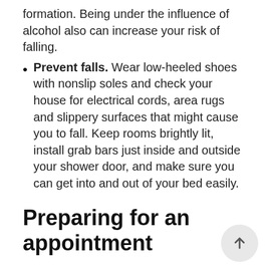formation. Being under the influence of alcohol also can increase your risk of falling.
Prevent falls. Wear low-heeled shoes with nonslip soles and check your house for electrical cords, area rugs and slippery surfaces that might cause you to fall. Keep rooms brightly lit, install grab bars just inside and outside your shower door, and make sure you can get into and out of your bed easily.
Preparing for an appointment
Your doctor might suggest bone density testing. Screening for osteoporosis is recommended for all women over age 65. Some guidelines also